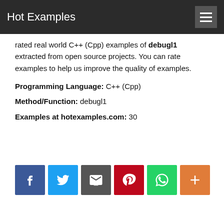Hot Examples
rated real world C++ (Cpp) examples of debugl1 extracted from open source projects. You can rate examples to help us improve the quality of examples.
Programming Language: C++ (Cpp)
Method/Function: debugl1
Examples at hotexamples.com: 30
[Figure (other): Social sharing buttons: Facebook, Twitter, Email, Pinterest, WhatsApp, More (+)]